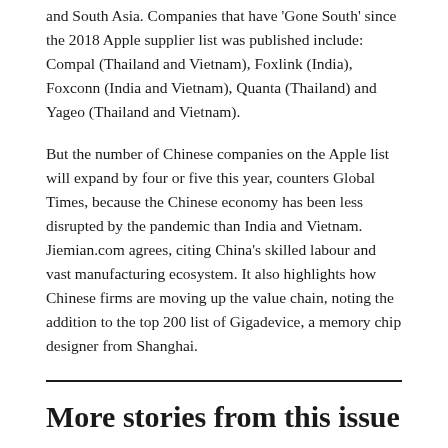and South Asia. Companies that have 'Gone South' since the 2018 Apple supplier list was published include: Compal (Thailand and Vietnam), Foxlink (India), Foxconn (India and Vietnam), Quanta (Thailand) and Yageo (Thailand and Vietnam).
But the number of Chinese companies on the Apple list will expand by four or five this year, counters Global Times, because the Chinese economy has been less disrupted by the pandemic than India and Vietnam. Jiemian.com agrees, citing China's skilled labour and vast manufacturing ecosystem. It also highlights how Chinese firms are moving up the value chain, noting the addition to the top 200 list of Gigadevice, a memory chip designer from Shanghai.
More stories from this issue
TALKING POINT
Thailand's richest tycoon targets a Shanghai IPO for its pork business